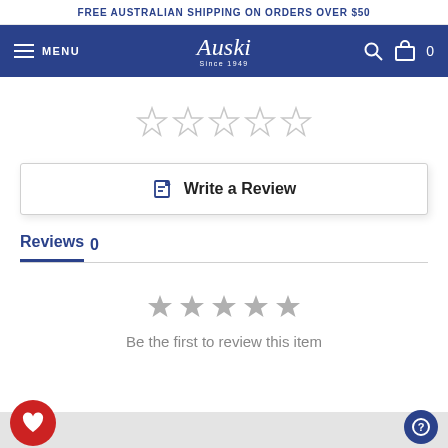FREE AUSTRALIAN SHIPPING ON ORDERS OVER $50
[Figure (screenshot): Auski Since 1949 navigation bar with menu icon, search icon, and cart icon showing 0 items]
[Figure (other): 5 empty star rating icons]
[Figure (other): Write a Review button with edit icon]
Reviews 0
[Figure (other): 5 gray filled star rating icons]
Be the first to review this item